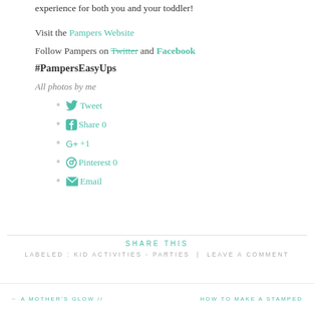experience for both you and your toddler!
Visit the Pampers Website
Follow Pampers on Twitter and Facebook
#PampersEasyUps
All photos by me
Tweet
Share 0
+1
Pinterest 0
Email
SHARE THIS
LABELED : KID ACTIVITIES - PARTIES | LEAVE A COMMENT
← A MOTHER'S GLOW //          HOW TO MAKE A STAMPED